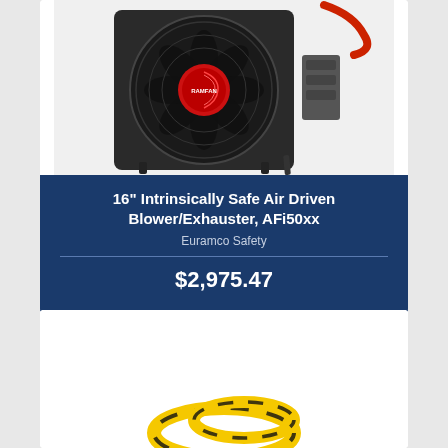[Figure (photo): Industrial air-driven blower/exhauster fan (RAMFAN brand) with black housing, red center logo, and hydraulic motor attachment. The fan face shows metal grille blades.]
16" Intrinsically Safe Air Driven Blower/Exhauster, AFi50xx
Euramco Safety
$2,975.47
[Figure (photo): Partial view of a yellow and black striped industrial hose or cable at the bottom of the page.]